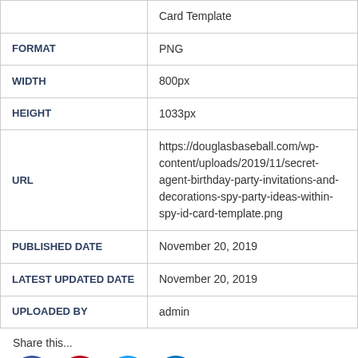| Field | Value |
| --- | --- |
|  | Card Template |
| FORMAT | PNG |
| WIDTH | 800px |
| HEIGHT | 1033px |
| URL | https://douglasbaseball.com/wp-content/uploads/2019/11/secret-agent-birthday-party-invitations-and-decorations-spy-party-ideas-within-spy-id-card-template.png |
| PUBLISHED DATE | November 20, 2019 |
| LATEST UPDATED DATE | November 20, 2019 |
| UPLOADED BY | admin |
Share this...
[Figure (other): Social media icons: Facebook, Pinterest, Twitter, LinkedIn]